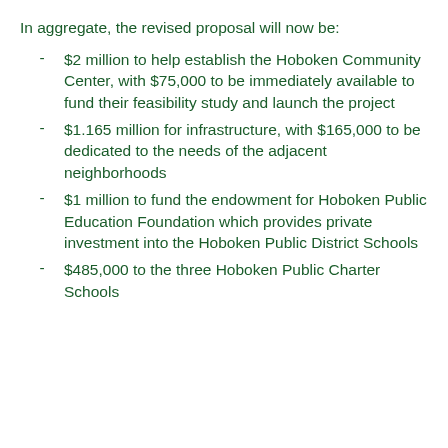In aggregate, the revised proposal will now be:
$2 million to help establish the Hoboken Community Center, with $75,000 to be immediately available to fund their feasibility study and launch the project
$1.165 million for infrastructure, with $165,000 to be dedicated to the needs of the adjacent neighborhoods
$1 million to fund the endowment for Hoboken Public Education Foundation which provides private investment into the Hoboken Public District Schools
$485,000 to the three Hoboken Public Charter Schools